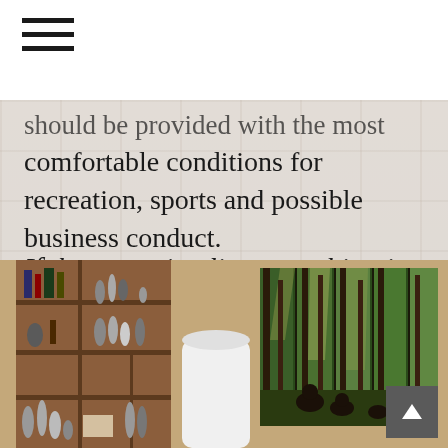[Figure (illustration): Hamburger menu icon with three horizontal bars]
should be provided with the most comfortable conditions for recreation, sports and possible business conduct.
If the space implies a combination of purposes, it should combine the appropriate functions and atmosphere.
[Figure (photo): Interior room photo showing wooden bookshelves with figurines and decorative items on the left, a cylindrical white object in the center, and a large triptych/polyptych painting of a forest scene with bears on the right. Beige/tan walls.]